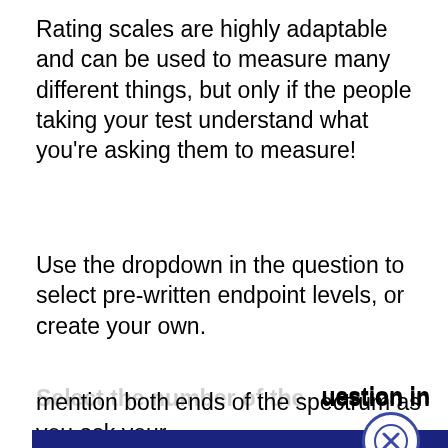Rating scales are highly adaptable and can be used to measure many different things, but only if the people taking your test understand what you're asking them to measure!
Use the dropdown in the question to select pre-written endpoint levels, or create your own.
Select the number of the question in
...u ask ...omething, ...they
...it's best to mention both ends of the spectrum as you ask your
[Figure (screenshot): Cookie consent popup overlay with dark blue background. Contains text: 'This website stores data such as cookies to enable essential site functionality, as well as marketing, personalization, and analytics. By remaining on this website you indicate your consent.' A 'Privacy Policy' underlined link is at the bottom. A circular close button (X) appears at the top right of the popup.]